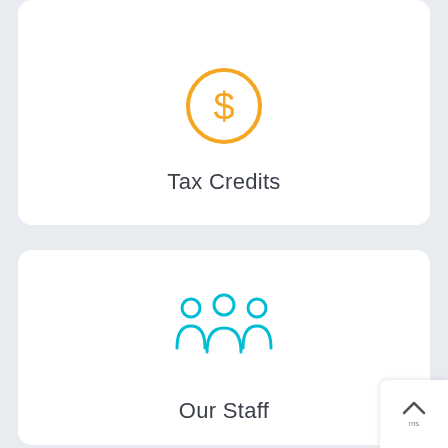[Figure (illustration): Orange circle with a dollar sign icon representing Tax Credits]
Tax Credits
[Figure (illustration): Teal/cyan icon of three people representing Our Staff]
Our Staff